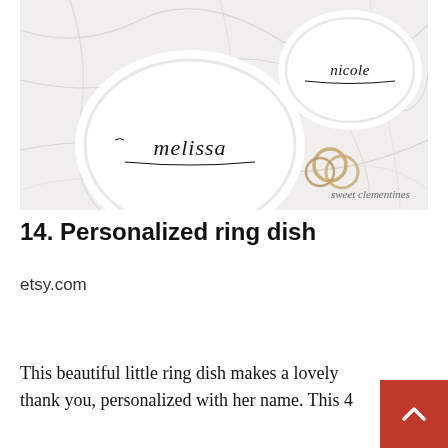[Figure (photo): Overhead view of two white personalized ring dishes on a marble surface. The left dish reads 'melissa' in cursive, the right dish reads 'nicole' in cursive. Gold rings rest on the marble surface. Watermark reads 'sweet clementines'.]
14. Personalized ring dish
etsy.com
This beautiful little ring dish makes a lovely thank you, personalized with her name. This 4